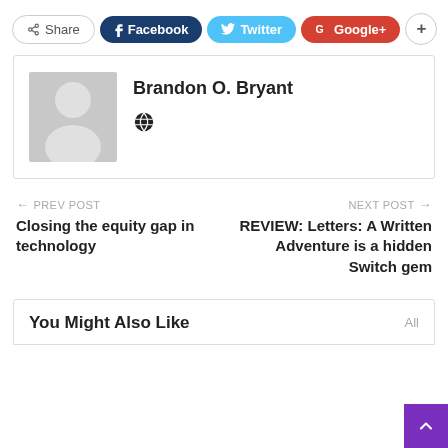[Figure (other): Social share buttons row: Share, Facebook, Twitter, Google+, plus button]
Brandon O. Bryant
[Figure (other): Author avatar placeholder (grey silhouette) and globe icon]
← PREV POST
Closing the equity gap in technology
NEXT POST →
REVIEW: Letters: A Written Adventure is a hidden Switch gem
You Might Also Like
All